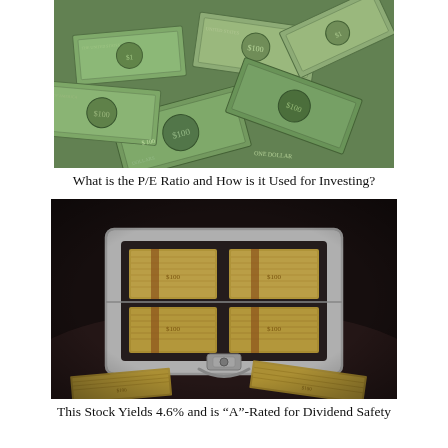[Figure (photo): Scattered US dollar bills including $1 and $100 notes spread across a surface]
What is the P/E Ratio and How is it Used for Investing?
[Figure (photo): An open silver metal briefcase filled with stacks of US $100 dollar bills sitting on a dark reflective surface with more bills scattered around it]
This Stock Yields 4.6% and is “A”-Rated for Dividend Safety